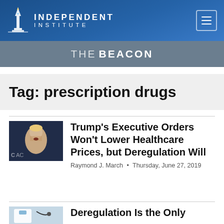INDEPENDENT INSTITUTE — The Beacon
Tag: prescription drugs
[Figure (photo): Thumbnail photo of Donald Trump speaking]
Trump's Executive Orders Won't Lower Healthcare Prices, but Deregulation Will
Raymond J. March • Thursday, June 27, 2019
[Figure (photo): Thumbnail photo of a doctor or medical professional]
Deregulation Is the Only